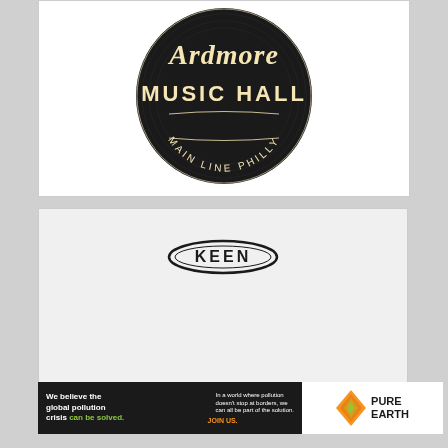[Figure (logo): Ardmore Music Hall circular logo on black background resembling a vinyl record, with text 'Ardmore MUSIC HALL MAIN LINE PHILLY']
[Figure (logo): KEEN footwear brand logo on light gray background]
[Figure (infographic): Pure Earth advertisement banner: black left panel with text 'We believe the global pollution crisis can be solved.' and 'In a world where pollution doesn't stop at borders, we can all be part of the solution. JOIN US.' White right panel with Pure Earth diamond logo and text 'PURE EARTH']